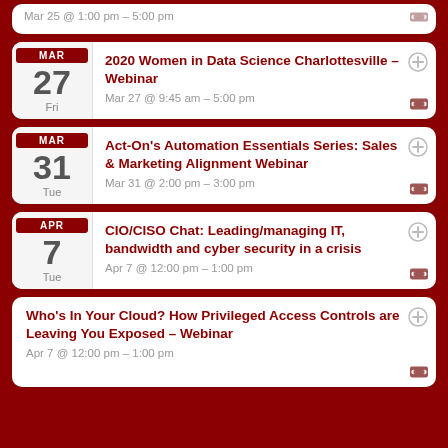Mar 25 @ 1:00 pm – 5:00 pm (partial, ticket icon)
MAR 27 Fri — 2020 Women in Data Science Charlottesville – Webinar — Mar 27 @ 9:45 am – 5:00 pm
MAR 31 Tue — Act-On's Automation Essentials Series: Sales & Marketing Alignment Webinar — Mar 31 @ 2:00 pm – 3:00 pm
APR 7 Tue — CIO/CISO Chat: Leading/managing IT, bandwidth and cyber security in a crisis — Apr 7 @ 12:00 pm – 1:00 pm
Who's In Your Cloud? How Privileged Access Controls are Leaving You Exposed – Webinar — Apr 7 @ 12:00 pm – 1:00 pm